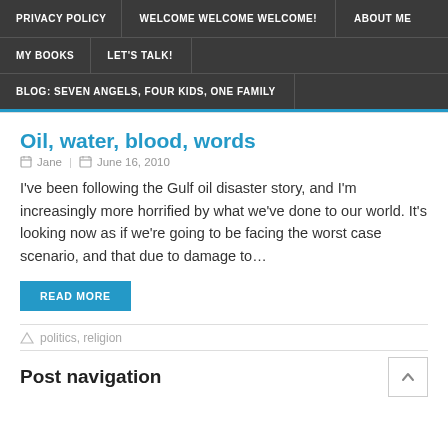PRIVACY POLICY | WELCOME WELCOME WELCOME! | ABOUT ME | MY BOOKS | LET'S TALK! | BLOG: SEVEN ANGELS, FOUR KIDS, ONE FAMILY
Oil, water, blood, words
Jane   June 16, 2010
I've been following the Gulf oil disaster story, and I'm increasingly more horrified by what we've done to our world. It's looking now as if we're going to be facing the worst case scenario, and that due to damage to…
READ MORE
politics, religion
Post navigation